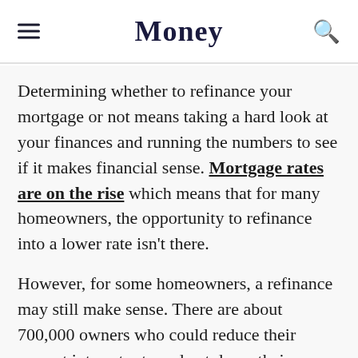Money
Determining whether to refinance your mortgage or not means taking a hard look at your finances and running the numbers to see if it makes financial sense. Mortgage rates are on the rise which means that for many homeowners, the opportunity to refinance into a lower rate isn't there.
However, for some homeowners, a refinance may still make sense. There are about 700,000 owners who could reduce their current interest rate and cut down their monthly payment. Moreover, refinancing